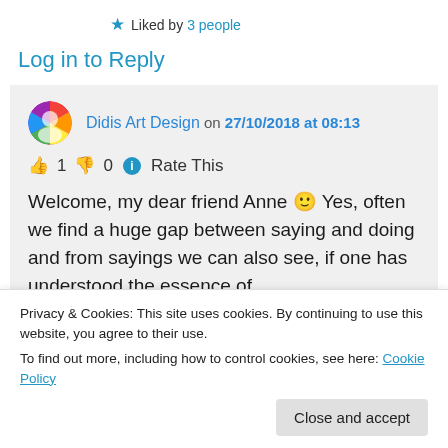★ Liked by 3 people
Log in to Reply
Didis Art Design on 27/10/2018 at 08:13
👍 1 👎 0 ℹ Rate This
Welcome, my dear friend Anne 🙂 Yes, often we find a huge gap between saying and doing and from sayings we can also see, if one has understood the essence of
Privacy & Cookies: This site uses cookies. By continuing to use this website, you agree to their use.
To find out more, including how to control cookies, see here: Cookie Policy
thankfulness that God has given us such